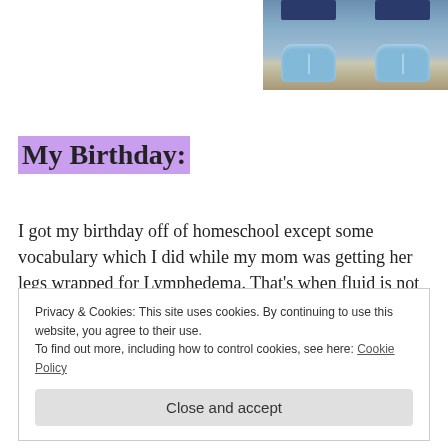[Figure (photo): Photo of feet wearing blue disposable shoe covers, standing on carpet, with dark blue pants visible at the top.]
My Birthday:
I got my birthday off of homeschool except some vocabulary which I did while my mom was getting her legs wrapped for Lymphedema. That's when fluid is not in her
Privacy & Cookies: This site uses cookies. By continuing to use this website, you agree to their use.
To find out more, including how to control cookies, see here: Cookie Policy
Close and accept
legs. Derp. She let me take a picture.